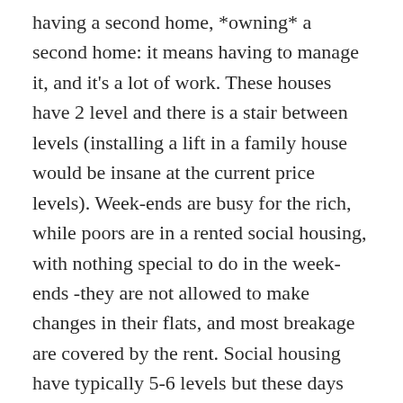having a second home, *owning* a second home: it means having to manage it, and it's a lot of work. These houses have 2 level and there is a stair between levels (installing a lift in a family house would be insane at the current price levels). Week-ends are busy for the rich, while poors are in a rented social housing, with nothing special to do in the week-ends -they are not allowed to make changes in their flats, and most breakage are covered by the rent. Social housing have typically 5-6 levels but these days there is always a lift (it's mandatory because of disabled people). Lifts were not common in 1970 in my country. As we are a bipedal special there is not much penalty to walk wearing some weight, but as soon as you begin to climb, it's painful. If you have 5